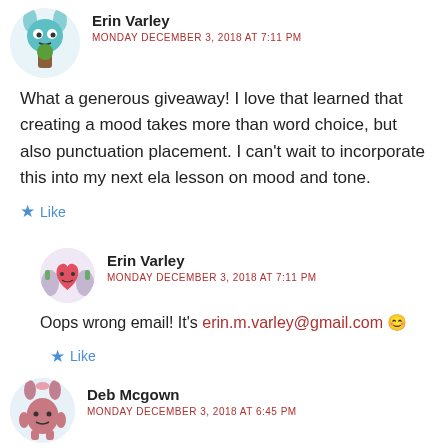[Figure (illustration): Avatar of a blue cartoon monster with rabbit ears, brown tree-like body]
Erin Varley
MONDAY DECEMBER 3, 2018 AT 7:11 PM
What a generous giveaway! I love that learned that creating a mood takes more than word choice, but also punctuation placement. I can't wait to incorporate this into my next ela lesson on mood and tone.
Like
[Figure (illustration): Avatar of a pink heart-shaped cartoon character with cactus-like features and wings]
Erin Varley
MONDAY DECEMBER 3, 2018 AT 7:11 PM
Oops wrong email! It's erin.m.varley@gmail.com 😊
Like
[Figure (illustration): Avatar of a pink/mauve cartoon rabbit-like character with a bow]
Deb Mcgown
MONDAY DECEMBER 3, 2018 AT 6:45 PM